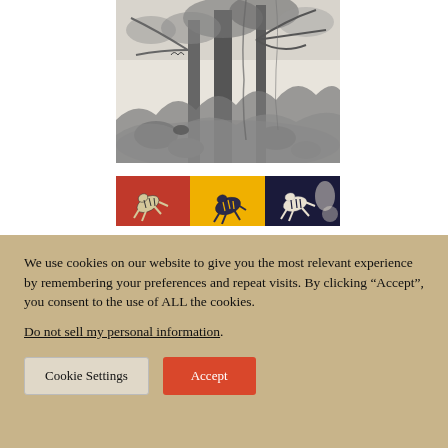[Figure (illustration): Black and white engraving of a tropical jungle scene with tall trees, dense foliage, palm fronds, and animals among the undergrowth]
[Figure (illustration): Three side-by-side colored fabric or wallpaper patterns featuring zebra motifs: left panel is red with a leaping zebra, middle panel is yellow with a zebra, right panel is dark navy/black with zebra and abstract shapes]
We use cookies on our website to give you the most relevant experience by remembering your preferences and repeat visits. By clicking “Accept”, you consent to the use of ALL the cookies.
Do not sell my personal information.